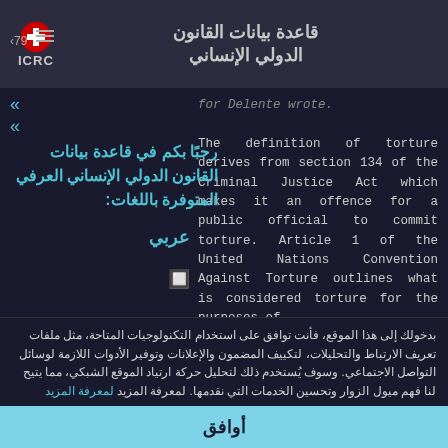قاعدة بيانات القانون الدولي الإنساني ICRC
for Delente wrote.

The definition of torture derives from section 134 of the Criminal Justice Act which makes it an offence for a public official to commit torture. Article 1 of the United Nations Convention Against Torture outlines what is considered torture for the purposes of
رحبًا بكم في قاعدة بيانات القانون الدولي الإنساني العرفي المتوفرة باللغات:
عربي
بدخولك إلى هذا الموقع، فأنت توافق على استخدام التكنولوجيات المتاحة، مثل ملفات تعريف الارتباط والتحليلات، لتكييف المضمون والإعلانات وتوفير الأدوات اللازمة لوسائل التواصل الاجتماعي. وسوف يُستخدم ذلك لتحليل حركة ارتياد الموقع الشبكي، مما يتيح لنا فهم ميول الزوار وتحسين الخدمات التي نقدمها. لمعرفة المزيد لمعرفة المزيد
أوافق